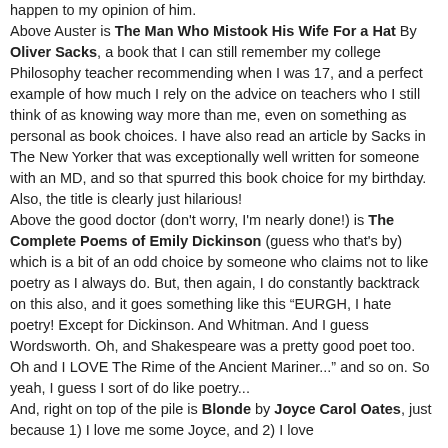happen to my opinion of him. Above Auster is The Man Who Mistook His Wife For a Hat By Oliver Sacks, a book that I can still remember my college Philosophy teacher recommending when I was 17, and a perfect example of how much I rely on the advice on teachers who I still think of as knowing way more than me, even on something as personal as book choices. I have also read an article by Sacks in The New Yorker that was exceptionally well written for someone with an MD, and so that spurred this book choice for my birthday. Also, the title is clearly just hilarious! Above the good doctor (don't worry, I'm nearly done!) is The Complete Poems of Emily Dickinson (guess who that's by) which is a bit of an odd choice by someone who claims not to like poetry as I always do. But, then again, I do constantly backtrack on this also, and it goes something like this "EURGH, I hate poetry! Except for Dickinson. And Whitman. And I guess Wordsworth. Oh, and Shakespeare was a pretty good poet too. Oh and I LOVE The Rime of the Ancient Mariner..." and so on. So yeah, I guess I sort of do like poetry... And, right on top of the pile is Blonde by Joyce Carol Oates, just because 1) I love me some Joyce, and 2) I love